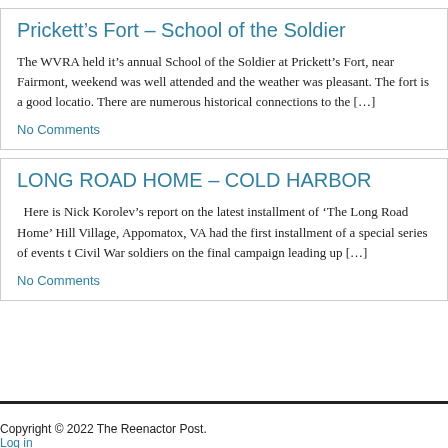Prickett's Fort – School of the Soldier
The WVRA held it's annual School of the Soldier at Prickett's Fort, near Fairmont, weekend was well attended and the weather was pleasant. The fort is a good locatio. There are numerous historical connections to the […]
No Comments
LONG ROAD HOME – COLD HARBOR
Here is Nick Korolev's report on the latest installment of 'The Long Road Home' Hill Village, Appomatox, VA had the first installment of a special series of events t Civil War soldiers on the final campaign leading up […]
No Comments
Copyright © 2022 The Reenactor Post.
Log in